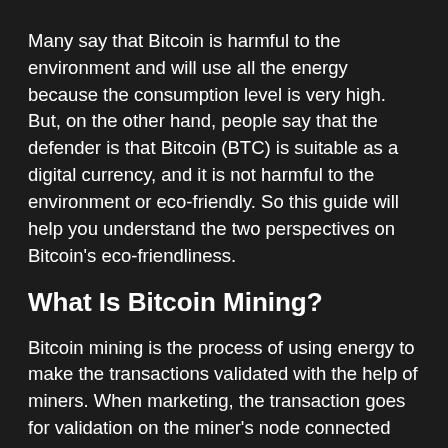Many say that Bitcoin is harmful to the environment and will use all the energy because the consumption level is very high. But, on the other hand, people say that the defender is that Bitcoin (BTC) is suitable as a digital currency, and it is not harmful to the environment or eco-friendly. So this guide will help you understand the two perspectives on Bitcoin's eco-friendliness.
What Is Bitcoin Mining?
Bitcoin mining is the process of using energy to make the transactions validated with the help of miners. When marketing, the transaction goes for validation on the miner's node connected with the electricity. When they solve the mathematical complex algorithms to validate the transactions, it will take high energy consumption, known as